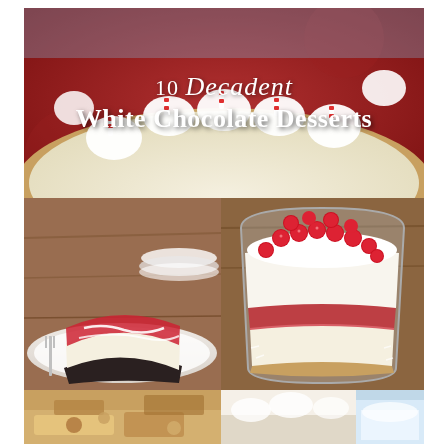[Figure (photo): Collage of white chocolate desserts. Top: a white chocolate peppermint cream pie with red-and-white candy cane decorations and whipped cream swirls, with title text '10 Decadent White Chocolate Desserts' overlaid in white. Middle-left: a slice of white chocolate raspberry cheesecake on a plate with raspberry sauce and white chocolate drizzle. Middle-right: a layered trifle in a glass bowl topped with fresh raspberries and whipped cream. Bottom row: partial views of three more desserts.]